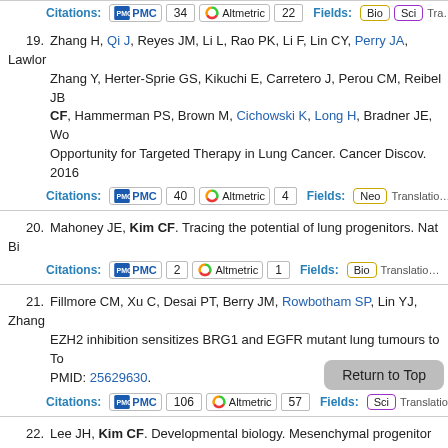Citations: PMC 34 | Altmetric 22 | Fields: Bio Sci Tra…
19. Zhang H, Qi J, Reyes JM, Li L, Rao PK, Li F, Lin CY, Perry JA, Lawlor… Zhang Y, Herter-Sprie GS, Kikuchi E, Carretero J, Perou CM, Reibel JB… CF, Hammerman PS, Brown M, Cichowski K, Long H, Bradner JE, Wo… Opportunity for Targeted Therapy in Lung Cancer. Cancer Discov. 2016…
Citations: PMC 40 | Altmetric 4 | Fields: Neo | Translatio…
20. Mahoney JE, Kim CF. Tracing the potential of lung progenitors. Nat Bi…
Citations: PMC 2 | Altmetric 1 | Fields: Bio | Translatio…
21. Fillmore CM, Xu C, Desai PT, Berry JM, Rowbotham SP, Lin YJ, Zhang… EZH2 inhibition sensitizes BRG1 and EGFR mutant lung tumours to To… PMID: 25629630.
Citations: PMC 106 | Altmetric 57 | Fields: Sci | Translatio…
22. Lee JH, Kim CF. Developmental biology. Mesenchymal progenitor pan… 25395521.
Citations: Altmetric 1 | Fields: Sci | Tra… | Cells…
23. Casey A, Dirks F, Liang OD, Harrach H, Schuette…Iseman… derived multipotent stromal cells attenuate inflammation in obliterative…